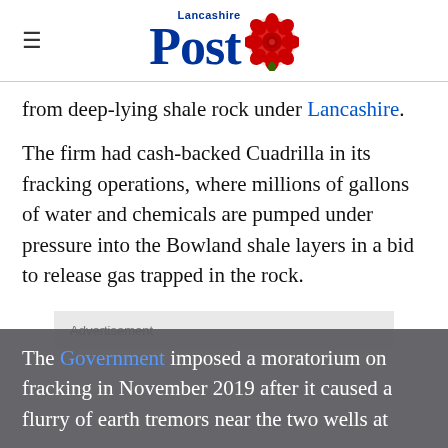Lancashire Post
from deep-lying shale rock under Lancashire.
The firm had cash-backed Cuadrilla in its fracking operations, where millions of gallons of water and chemicals are pumped under pressure into the Bowland shale layers in a bid to release gas trapped in the rock.
Advertisement
The Government imposed a moratorium on fracking in November 2019 after it caused a flurry of earth tremors near the two wells at